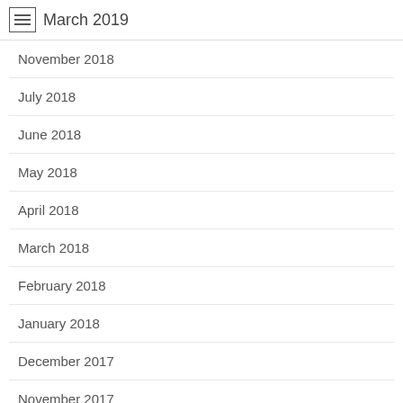March 2019
November 2018
July 2018
June 2018
May 2018
April 2018
March 2018
February 2018
January 2018
December 2017
November 2017